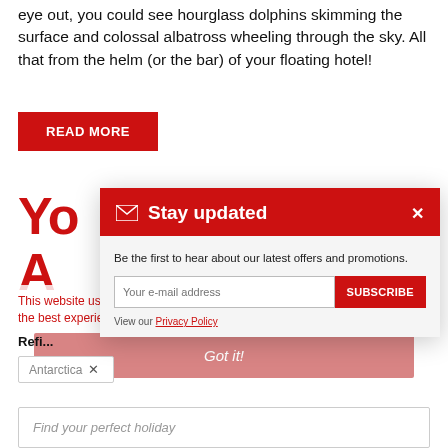eye out, you could see hourglass dolphins skimming the surface and colossal albatross wheeling through the sky. All that from the helm (or the bar) of your floating hotel!
READ MORE
Yo... A...
[Figure (screenshot): Stay updated modal popup with email subscription form. Header: envelope icon and 'Stay updated' in white on red. Body: 'Be the first to hear about our latest offers and promotions.' Input for email address and SUBSCRIBE button. View our Privacy Policy link.]
This website uses cookies and Google Analytics tracking to ensure you get the best experience on our website. Learn more
Got it!
Curre...
Refine...
Antarctica ×
Find your perfect holiday